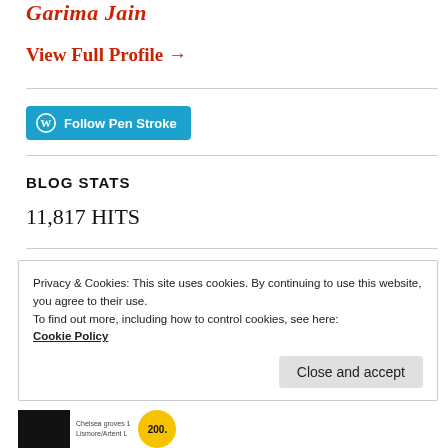Garima Jain
View Full Profile →
[Figure (other): Follow Pen Stroke button with WordPress icon]
BLOG STATS
11,817 HITS
Privacy & Cookies: This site uses cookies. By continuing to use this website, you agree to their use. To find out more, including how to control cookies, see here: Cookie Policy
Close and accept